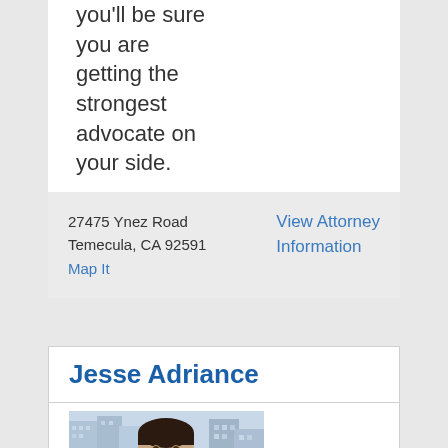you'll be sure you are getting the strongest advocate on your side.
27475 Ynez Road
Temecula, CA 92591
Map It
View Attorney Information
Jesse Adriance
[Figure (photo): Headshot photo of Jesse Adriance, a man with dark hair, smiling, in front of a city building background]